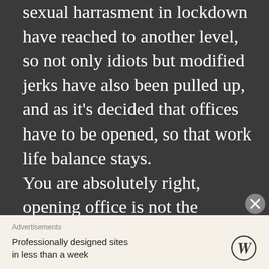sexual harrasment in lockdown have reached to another level, so not only idiots but modified jerks have also been pulled up, and as it's decided that offices have to be opened, so that work life balance stays. You are absolutely right, opening office is not the solution..but to tame dogs certain steps needs to be taken, also no one can force you to come to office. Working hours, with break would be set and everything will go as per
[Figure (screenshot): WordPress advertisement banner with text 'Professionally designed sites in less than a week' and WordPress logo]